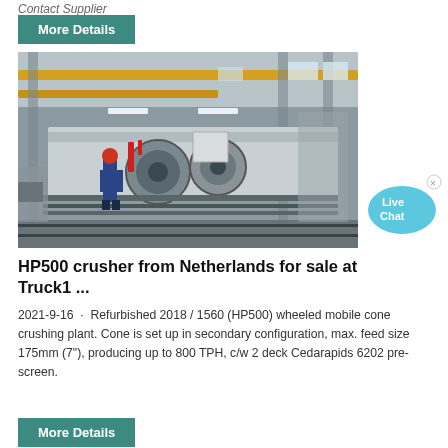Contact Supplier
More Details
[Figure (photo): Industrial factory floor showing a large CNC lathe or rolling machine with a worker in red helmet operating it, overhead yellow crane structures visible, workshop interior with metal components.]
Live Chat
HP500 crusher from Netherlands for sale at Truck1 ...
2021-9-16  ·  Refurbished 2018 / 1560 (HP500) wheeled mobile cone crushing plant. Cone is set up in secondary configuration, max. feed size 175mm (7"), producing up to 800 TPH, c/w 2 deck Cedarapids 6202 pre- screen.
More Details